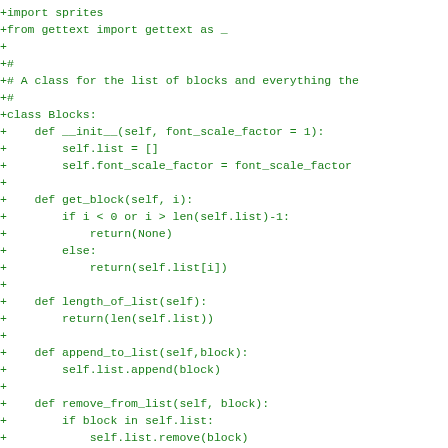+import sprites
+from gettext import gettext as _
+
+#
+# A class for the list of blocks and everything the
+#
+class Blocks:
+    def __init__(self, font_scale_factor = 1):
+        self.list = []
+        self.font_scale_factor = font_scale_factor
+
+    def get_block(self, i):
+        if i < 0 or i > len(self.list)-1:
+            return(None)
+        else:
+            return(self.list[i])
+
+    def length_of_list(self):
+        return(len(self.list))
+
+    def append_to_list(self,block):
+        self.list.append(block)
+
+    def remove_from_list(self, block):
+        if block in self.list:
+            self.list.remove(block)
+
+    def print_list(self, block_type=None):
+        for i, block in enumerate(self.list):
+            if block_type is None or block_type ==
+                print "%d: %s" % (i, block_name)